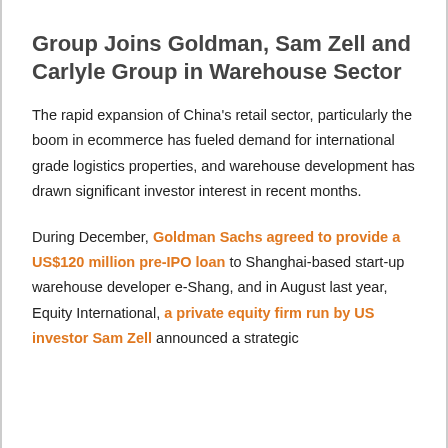Group Joins Goldman, Sam Zell and Carlyle Group in Warehouse Sector
The rapid expansion of China's retail sector, particularly the boom in ecommerce has fueled demand for international grade logistics properties, and warehouse development has drawn significant investor interest in recent months.
During December, Goldman Sachs agreed to provide a US$120 million pre-IPO loan to Shanghai-based start-up warehouse developer e-Shang, and in August last year, Equity International, a private equity firm run by US investor Sam Zell announced a strategic